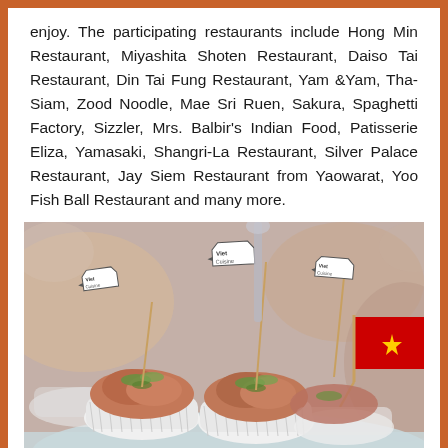enjoy. The participating restaurants include Hong Min Restaurant, Miyashita Shoten Restaurant, Daiso Tai Restaurant, Din Tai Fung Restaurant, Yam &Yam, Tha-Siam, Zood Noodle, Mae Sri Ruen, Sakura, Spaghetti Factory, Sizzler, Mrs. Balbir's Indian Food, Patisserie Eliza, Yamasaki, Shangri-La Restaurant, Silver Palace Restaurant, Jay Siem Restaurant from Yaowarat, Yoo Fish Ball Restaurant and many more.
[Figure (photo): Photo of food appetizers served in white paper cupcake cups on a light blue plate, with small Viet Cuisine logo signs on toothpicks stuck into the food, and a Vietnamese flag (red with yellow star) visible on the right side.]